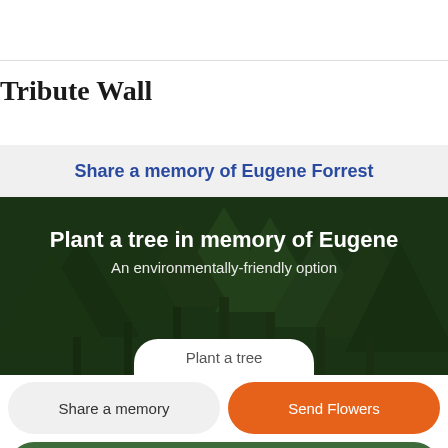Tribute Wall
Share a memory of Eugene Forrest
[Figure (illustration): Forest banner with dark green pine trees in background. Contains title 'Plant a tree in memory of Eugene', subtitle 'An environmentally-friendly option', and a partially visible white 'Plant a tree' button at the bottom.]
Share a memory
Send Flowers
Plant a Tree